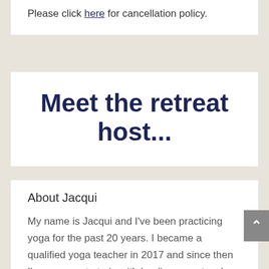Please click here for cancellation policy.
Meet the retreat host...
About Jacqui
My name is Jacqui and I've been practicing yoga for the past 20 years. I became a qualified yoga teacher in 2017 and since then I've gone on to train with leading yoga teacher Petra Coveney.